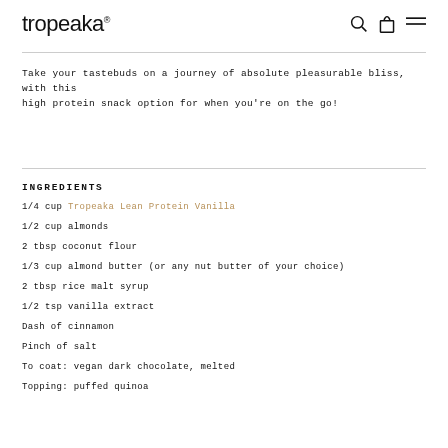tropeaka
Take your tastebuds on a journey of absolute pleasurable bliss, with this high protein snack option for when you're on the go!
INGREDIENTS
1/4 cup Tropeaka Lean Protein Vanilla
1/2 cup almonds
2 tbsp coconut flour
1/3 cup almond butter (or any nut butter of your choice)
2 tbsp rice malt syrup
1/2 tsp vanilla extract
Dash of cinnamon
Pinch of salt
To coat: vegan dark chocolate, melted
Topping: puffed quinoa